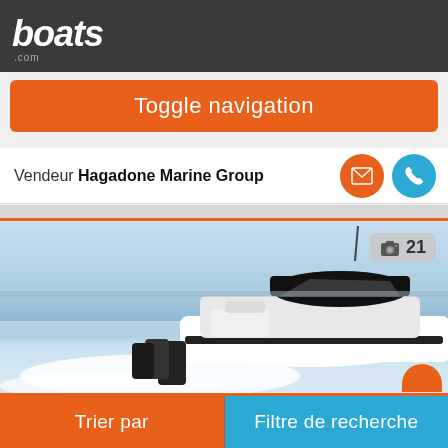boats.com
Toggle navigation
Vendeur Hagadone Marine Group
[Figure (photo): A white motorboat with black hardtop speeding across water, leaving a white wake. Three outboard motors visible at stern. Photo counter badge showing camera icon and '21' in top right corner.]
Trier par
Filtre de recherche